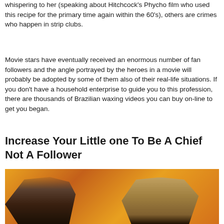whispering to her (speaking about Hitchcock's Phycho film who used this recipe for the primary time again within the 60's), others are crimes who happen in strip clubs.
Movie stars have eventually received an enormous number of fan followers and the angle portrayed by the heroes in a movie will probably be adopted by some of them also of their real-life situations. If you don't have a household enterprise to guide you to this profession, there are thousands of Brazilian waxing videos you can buy on-line to get you began.
Increase Your Little one To Be A Chief Not A Follower
[Figure (photo): Movie poster-style image showing a bald man in the foreground with a fierce expression, and an armored figure behind him, against an orange/yellow dramatic background with a dark black strip at the top.]